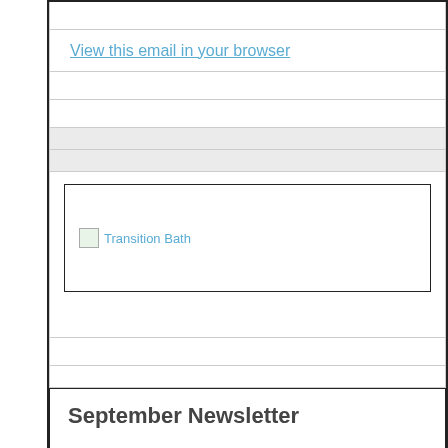View this email in your browser
[Figure (other): Transition Bath logo/image placeholder]
September Newsletter
This is probably Transition Bath's busiest month of the year with the launch of Bath Green Homes. We have 16 homes open during the open homes weekend of